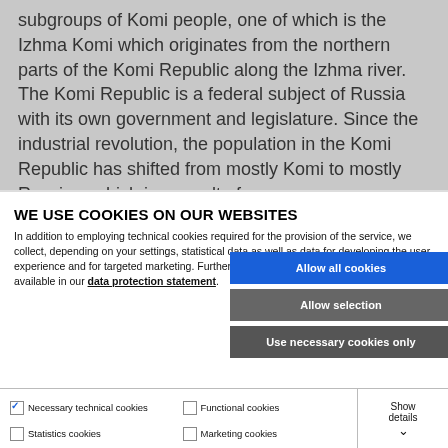subgroups of Komi people, one of which is the Izhma Komi which originates from the northern parts of the Komi Republic along the Izhma river. The Komi Republic is a federal subject of Russia with its own government and legislature. Since the industrial revolution, the population in the Komi Republic has shifted from mostly Komi to mostly Russian, which is a result of
WE USE COOKIES ON OUR WEBSITES
In addition to employing technical cookies required for the provision of the service, we collect, depending on your settings, statistical data as well as data for developing the user experience and for targeted marketing. Further information on the use of your data is available in our data protection statement.
Allow all cookies
Allow selection
Use necessary cookies only
✓ Necessary technical cookies   ☐ Functional cookies   ☐ Statistics cookies   ☐ Marketing cookies   Show details